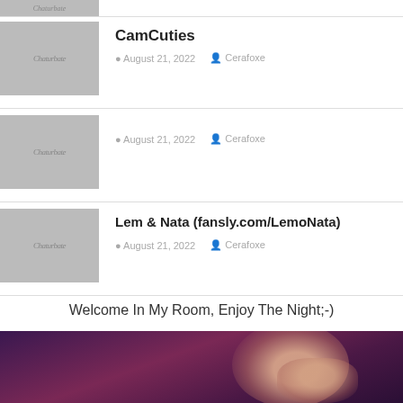[Figure (screenshot): Thumbnail placeholder image with Chaturbate watermark logo]
CamCuties
August 21, 2022   Cerafoxe
[Figure (screenshot): Thumbnail placeholder image with Chaturbate watermark logo]
August 21, 2022   Cerafoxe
Lem & Nata (fansly.com/LemoNata)
[Figure (screenshot): Thumbnail placeholder image with Chaturbate watermark logo]
August 21, 2022   Cerafoxe
Welcome In My Room, Enjoy The Night;-)
[Figure (photo): A photo of a person's face/chin area with purple/violet lighting in the background]